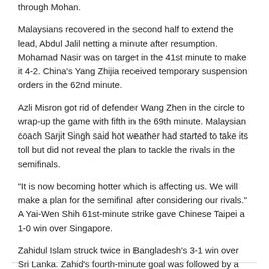through Mohan.
Malaysians recovered in the second half to extend the lead, Abdul Jalil netting a minute after resumption. Mohamad Nasir was on target in the 41st minute to make it 4-2. China's Yang Zhijia received temporary suspension orders in the 62nd minute.
Azli Misron got rid of defender Wang Zhen in the circle to wrap-up the game with fifth in the 69th minute. Malaysian coach Sarjit Singh said hot weather had started to take its toll but did not reveal the plan to tackle the rivals in the semifinals.
"It is now becoming hotter which is affecting us. We will make a plan for the semifinal after considering our rivals." A Yai-Wen Shih 61st-minute strike gave Chinese Taipei a 1-0 win over Singapore.
Zahidul Islam struck twice in Bangladesh's 3-1 win over Sri Lanka. Zahid's fourth-minute goal was followed by a H.S. Hettiarachchi equaliser in the 29th minute. Zahid got his second in the 37th minute, while Ashraful Islam completed the scoring in the 51st minute.